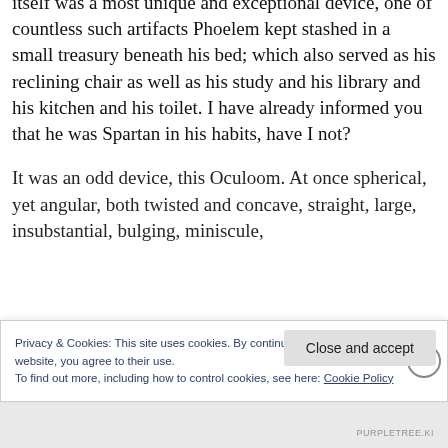itself was a most unique and exceptional device, one of countless such artifacts Phoelem kept stashed in a small treasury beneath his bed; which also served as his reclining chair as well as his study and his library and his kitchen and his toilet. I have already informed you that he was Spartan in his habits, have I not?
It was an odd device, this Oculoom. At once spherical, yet angular, both twisted and concave, straight, large, insubstantial, bulging, miniscule,
Privacy & Cookies: This site uses cookies. By continuing to use this website, you agree to their use.
To find out more, including how to control cookies, see here: Cookie Policy
Close and accept